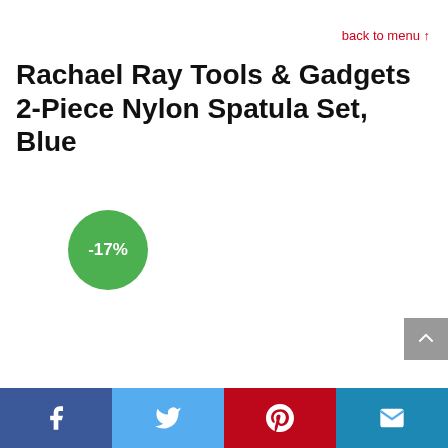back to menu ↑
Rachael Ray Tools & Gadgets 2-Piece Nylon Spatula Set, Blue
[Figure (infographic): Green circle badge showing -17% discount]
[Figure (other): Scroll-to-top button (chevron up) in grey]
[Figure (other): Social sharing bar with Facebook, Twitter, Pinterest, and Email buttons]